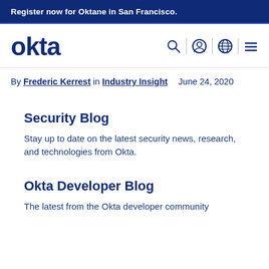Register now for Oktane in San Francisco.
[Figure (logo): Okta logo in dark navy blue, lowercase bold text 'okta']
[Figure (other): Navigation icons: search (magnifying glass), user/account (circle with person), globe/language, and hamburger menu lines]
By Frederic Kerrest in Industry Insight   June 24, 2020
Security Blog
Stay up to date on the latest security news, research, and technologies from Okta.
Okta Developer Blog
The latest from the Okta developer community